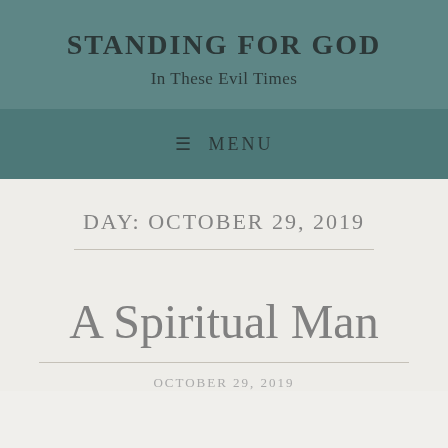STANDING FOR GOD
In These Evil Times
≡ MENU
DAY: OCTOBER 29, 2019
A Spiritual Man
OCTOBER 29, 2019